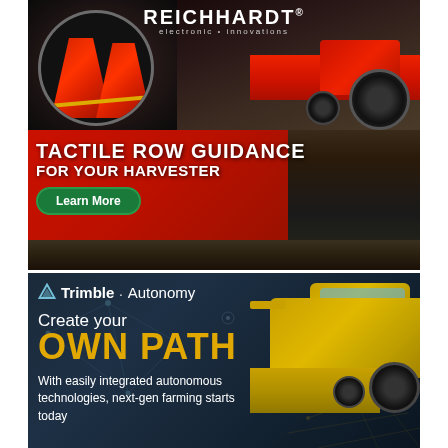[Figure (illustration): Reichhardt electronic innovations advertisement showing agricultural harvester machinery with tactile row guidance system. Top section shows close-up of red cone row guidance sensors and a red combine harvester (Case IH 9240). Below shows another harvester header image with text overlay. Features 'TACTILE ROW GUIDANCE FOR YOUR HARVESTER' headline and green 'Learn More' button.]
[Figure (illustration): Trimble Autonomy advertisement on dark navy blue background with network/connectivity dot pattern. Shows yellow New Holland combine harvester on right side with gold mesh pattern. Text reads 'Create your OWN PATH' with tagline 'With easily integrated autonomous technologies, next-gen farming starts today'.]